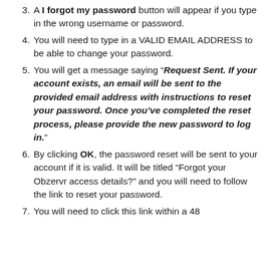A I forgot my password button will appear if you type in the wrong username or password.
You will need to type in a VALID EMAIL ADDRESS to be able to change your password.
You will get a message saying “Request Sent. If your account exists, an email will be sent to the provided email address with instructions to reset your password. Once you’ve completed the reset process, please provide the new password to log in.”
By clicking OK, the password reset will be sent to your account if it is valid. It will be titled “Forgot your Obzervr access details?” and you will need to follow the link to reset your password.
You will need to click this link within a 48